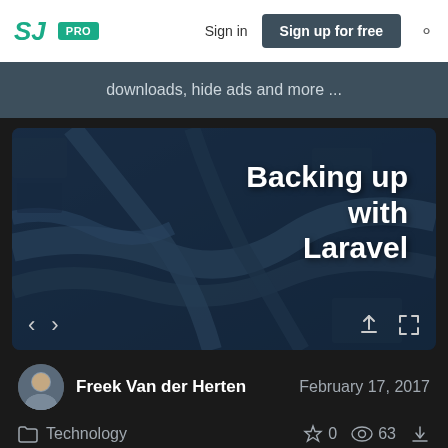SJ PRO | Sign in | Sign up for free
downloads, hide ads and more ...
[Figure (screenshot): Slide viewer showing presentation titled 'Backing up with Laravel' with aerial highway interchange background, navigation arrows and action icons]
Freek Van der Herten
February 17, 2017
Technology
0  63